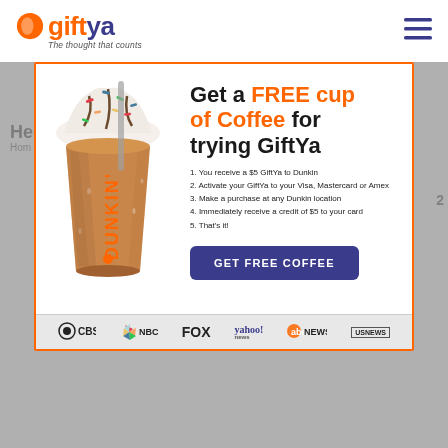[Figure (logo): GiftYa logo with orange circle icon, dark blue 'giftya' text, and tagline 'The thought that counts']
[Figure (screenshot): GiftYa promotional modal popup: 'Get a FREE cup of Coffee for trying GiftYa' with Dunkin iced coffee cup, numbered steps, GET FREE COFFEE button, and media logos (CBS, NBC, FOX, yahoo! news, abc NEWS, US NEWS)]